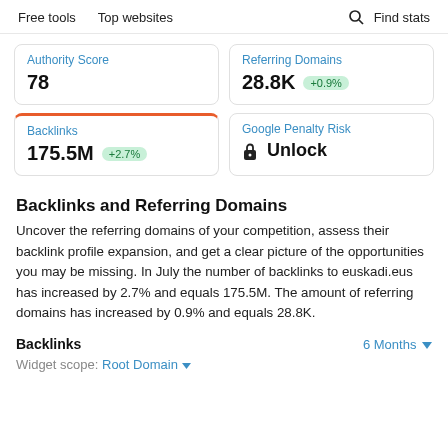Free tools   Top websites   Find stats
Authority Score
78
Referring Domains
28.8K  +0.9%
Backlinks
175.5M  +2.7%
Google Penalty Risk
🔒 Unlock
Backlinks and Referring Domains
Uncover the referring domains of your competition, assess their backlink profile expansion, and get a clear picture of the opportunities you may be missing. In July the number of backlinks to euskadi.eus has increased by 2.7% and equals 175.5M. The amount of referring domains has increased by 0.9% and equals 28.8K.
Backlinks
6 Months ▾
Widget scope: Root Domain ▾